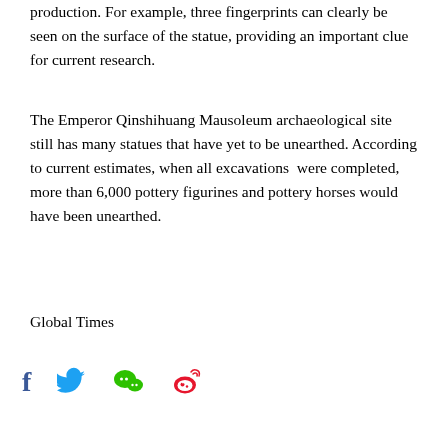production. For example, three fingerprints can clearly be seen on the surface of the statue, providing an important clue for current research.
The Emperor Qinshihuang Mausoleum archaeological site still has many statues that have yet to be unearthed. According to current estimates, when all excavations were completed, more than 6,000 pottery figurines and pottery horses would have been unearthed.
Global Times
[Figure (other): Social media sharing icons: Facebook, Twitter, WeChat, Weibo]